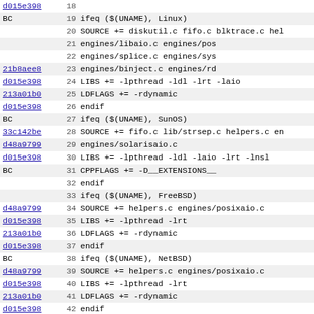Code diff view showing lines 18-50 of a Makefile with commit hashes, line numbers, and code content including ifeq conditions for Linux, SunOS, FreeBSD, NetBSD, AIX, HP-UX platforms.